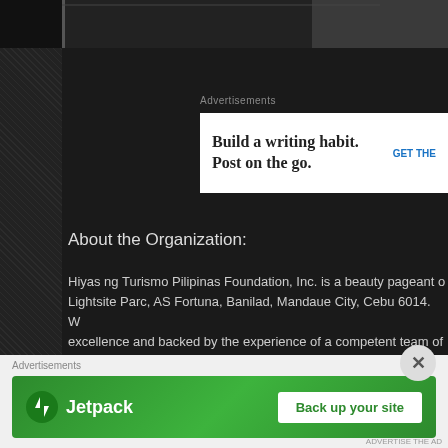[Figure (screenshot): Dark website background with image bar at top showing partial photos]
Advertisements
[Figure (screenshot): Advertisement banner: Build a writing habit. Post on the go. GET THE]
About the Organization:
Hiyas ng Turismo Pilipinas Foundation, Inc. is a beauty pageant o... Lightsite Parc, AS Fortuna, Banilad, Mandaue City, Cebu 6014. W... excellence and backed by the experience of a competent team of Psychee Patalinjug, a former beauty queen. Having over nearly a beauty pageant industry, her expertise will enable Hiyas ng Turism... compete favorably in an industry driven by intense competition.
Advertisements
[Figure (screenshot): Jetpack advertisement: Back up your site]